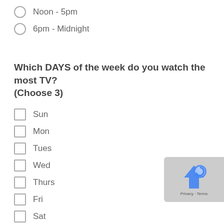Noon - 5pm
6pm - Midnight
Which DAYS of the week do you watch the most TV? (Choose 3)
Sun
Mon
Tues
Wed
Thurs
Fri
Sat
If you use review sites, which one do you use most frequently?
Yelp